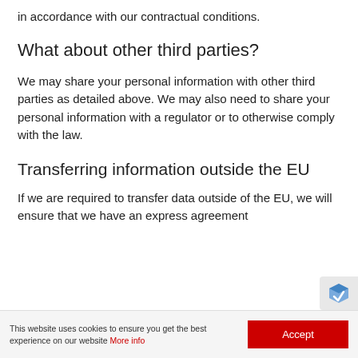in accordance with our contractual conditions.
What about other third parties?
We may share your personal information with other third parties as detailed above. We may also need to share your personal information with a regulator or to otherwise comply with the law.
Transferring information outside the EU
If we are required to transfer data outside of the EU, we will ensure that we have an express agreement
This website uses cookies to ensure you get the best experience on our website More info